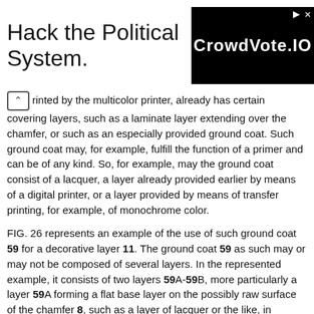[Figure (other): Advertisement banner: 'Hack the Political System.' with CrowdVote.IO logo on black background]
printed by the multicolor printer, already has certain covering layers, such as a laminate layer extending over the chamfer, or such as an especially provided ground coat. Such ground coat may, for example, fulfill the function of a primer and can be of any kind. So, for example, may the ground coat consist of a lacquer, a layer already provided earlier by means of a digital printer, or a layer provided by means of transfer printing, for example, of monochrome color.
FIG. 26 represents an example of the use of such ground coat 59 for a decorative layer 11. The ground coat 59 as such may or may not be composed of several layers. In the represented example, it consists of two layers 59A-59B, more particularly a layer 59A forming a flat base layer on the possibly raw surface of the chamfer 8, such as a layer of lacquer or the like, in combination with a primer or uniform print 59B provided on this flattening layer 59A. A ground coat 59 composed in this manner has the advantage that a better adherence of the primer 59B is obtained, which is particularly important with chamfers 8 of which the surface 9 is at least partially formed in the substrate 14, wherein this substrate 14 then comprises, for example, a material based on wood particles or wood fibers,